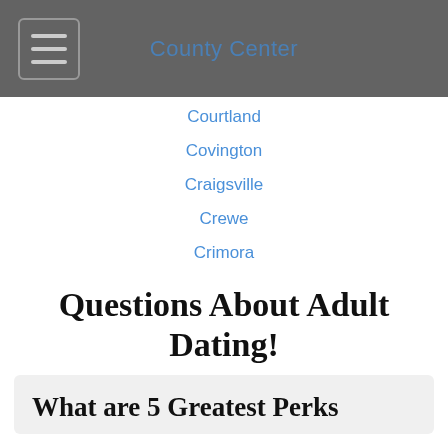County Center
Courtland
Covington
Craigsville
Crewe
Crimora
Questions About Adult Dating!
What are 5 Greatest Perks